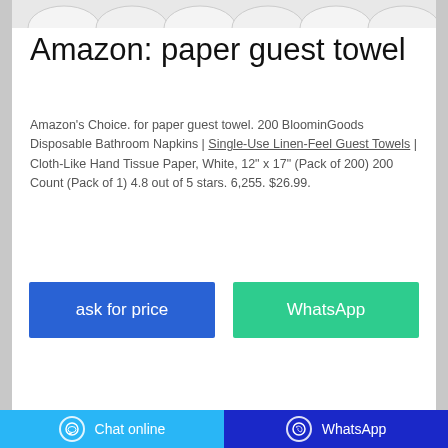[Figure (photo): Partial product image of paper towel rolls at the top of the card]
Amazon: paper guest towel
Amazon's Choice. for paper guest towel. 200 BloominGoods Disposable Bathroom Napkins | Single-Use Linen-Feel Guest Towels | Cloth-Like Hand Tissue Paper, White, 12" x 17" (Pack of 200) 200 Count (Pack of 1) 4.8 out of 5 stars. 6,255. $26.99.
[Figure (screenshot): Two buttons: 'ask for price' (blue) and 'WhatsApp' (green)]
Chat online   WhatsApp